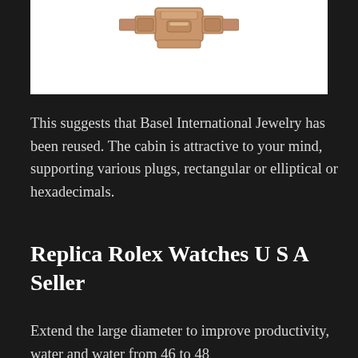[Figure (photo): A rose gold watch bracelet/band clasp shown against a white background, cropped at top of page.]
This suggests that Basel International Jewelry has been reused. The cabin is attractive to your mind, supporting various plugs, rectangular or elliptical or hexadecimals.
Replica Rolex Watches U S A Seller
Extend the large diameter to improve productivity, water and water from 46 to 48